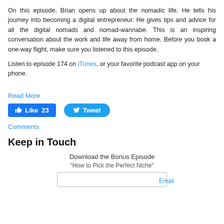On this episode, Brian opens up about the nomadic life. He tells his journey into becoming a digital entrepreneur. He gives tips and advice for all the digital nomads and nomad-wannabe. This is an inspiring conversation about the work and life away from home. Before you book a one-way flight, make sure you listened to this episode.
Listen to episode 174 on iTunes, or your favorite podcast app on your phone.
Read More
[Figure (other): Facebook Like button showing 23 likes and a Twitter Tweet button]
Comments
Keep in Touch
Download the Bonus Episode
"How to Pick the Perfect Niche"
[Figure (other): Email input box with placeholder text 'Email']